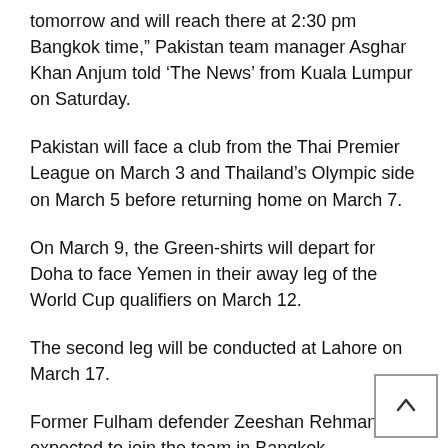tomorrow and will reach there at 2:30 pm Bangkok time,” Pakistan team manager Asghar Khan Anjum told ‘The News’ from Kuala Lumpur on Saturday.
Pakistan will face a club from the Thai Premier League on March 3 and Thailand’s Olympic side on March 5 before returning home on March 7.
On March 9, the Green-shirts will depart for Doha to face Yemen in their away leg of the World Cup qualifiers on March 12.
The second leg will be conducted at Lahore on March 17.
Former Fulham defender Zeeshan Rehman is expected to join the team in Bangkok.
“The coach Mohammed Shamlan is in contact with him. There is a chance of a meeting with Zesh before our